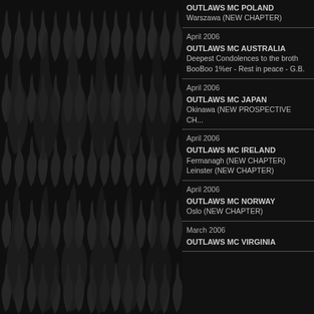[Figure (illustration): Dark background with repeating grey flame pattern on the left half of the page]
OUTLAWS MC POLAND
Warszawa (NEW CHAPTER)
April 2006
OUTLAWS MC AUSTRALIA
Deepest Condolences to the broth... BooBoo 1%er - Rest in peace - G.B.
April 2006
OUTLAWS MC JAPAN
Okinawa (NEW PROSPECTIVE CH...
April 2006
OUTLAWS MC IRELAND
Fermanagh (NEW CHAPTER)
Leinster (NEW CHAPTER)
April 2006
OUTLAWS MC NORWAY
Oslo (NEW CHAPTER)
March 2006
OUTLAWS MC VIRGINIA